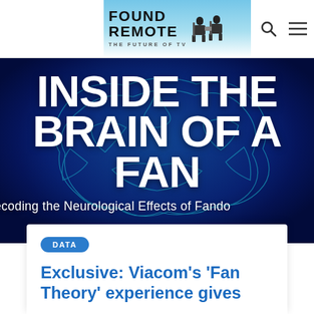FOUND REMOTE THE FUTURE OF TV
[Figure (illustration): Hero image: stylized blue brain illustration as background with white bold text overlay reading INSIDE THE BRAIN OF A FAN and subtitle Decoding the Neurological Effects of Fandom]
INSIDE THE BRAIN OF A FAN
Decoding the Neurological Effects of Fandom
DATA
Exclusive: Viacom's 'Fan Theory' experience gives